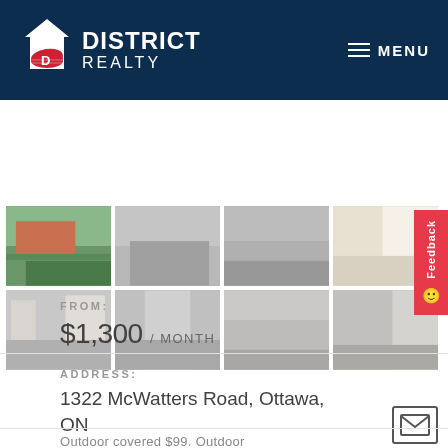DISTRICT REALTY — MENU
[Figure (photo): Grid of 8 property photos showing exterior (green grass/building), interior rooms, bathroom, hallway, and bedrooms in muted tones]
FROM: $1,300 / MONTH
ADDRESS: 1322 McWatters Road, Ottawa, ON
Outdoor covered $99. Outdoor...